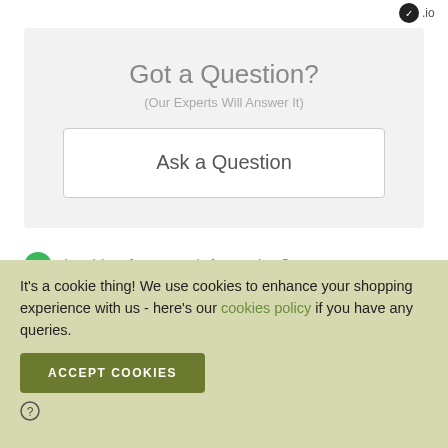.io
Got a Question?
(Our Experts Will Answer It)
Ask a Question
Looking for more information?
Ask a question and our experts will answer it.
It's a cookie thing! We use cookies to enhance your shopping experience with us - here's our cookies policy if you have any queries.
ACCEPT COOKIES